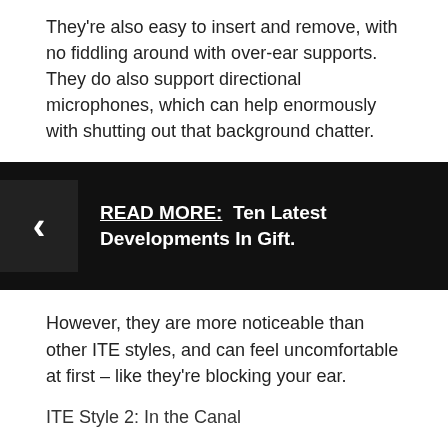They're also easy to insert and remove, with no fiddling around with over-ear supports. They do also support directional microphones, which can help enormously with shutting out that background chatter.
[Figure (infographic): Black banner with a left-pointing chevron arrow icon on the left side and bold white text reading: READ MORE: Ten Latest Developments In Gift.]
However, they are more noticeable than other ITE styles, and can feel uncomfortable at first – like they're blocking your ear.
ITE Style 2: In the Canal
In the ear canal (ITC) hearing aids sit protruding into your ear canal; part of it remains visible in the outer ear. These are suitable for mild to moderate hearing loss, and also